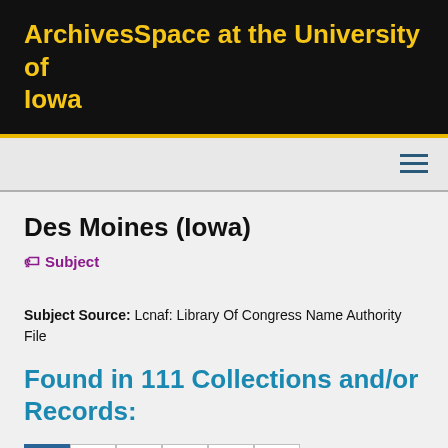ArchivesSpace at the University of Iowa
Des Moines (Iowa)
Subject
Subject Source: Lcnaf: Library Of Congress Name Authority File
Found in 111 Collections and/or Records:
1 2 3 4 5 6